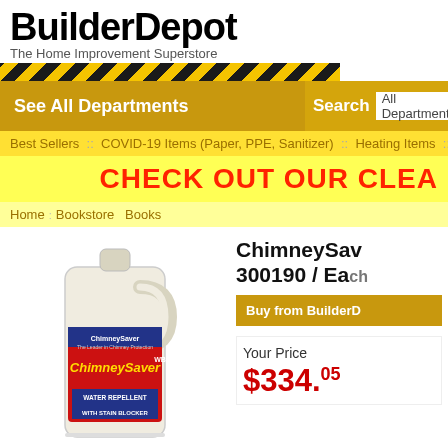BuilderDepot - The Home Improvement Superstore
See All Departments
Search  All Departments
Best Sellers :: COVID-19 Items (Paper, PPE, Sanitizer) :: Heating Items ::
CHECK OUT OUR CLEA
Home : Bookstore  Books
[Figure (photo): ChimneySaver water-based water repellent with stain blocker gallon jug product photo]
ChimneySaver 300190 / Each
Buy from BuilderD
Your Price
$334.05